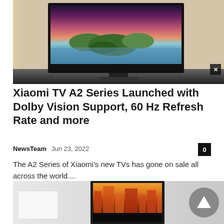[Figure (photo): Xiaomi TV A2 mounted on a wall above a dark console shelf in a living room setting, showing a landscape with green islands and colorful sky on screen]
Xiaomi TV A2 Series Launched with Dolby Vision Support, 60 Hz Refresh Rate and more
NewsTeam   Jun 23, 2022   0
The A2 Series of Xiaomi's new TVs has gone on sale all across the world....
[Figure (photo): A monitor or display device showing a city street scene with colorful buildings, alongside a light gray wall and white panel on the left, with a circular back/up arrow button on the right]